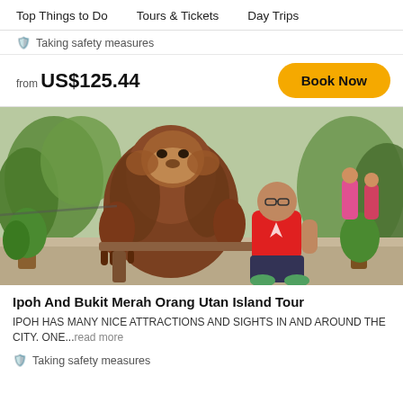Top Things to Do   Tours & Tickets   Day Trips
Taking safety measures
from US$125.44
[Figure (photo): A man in a red t-shirt sitting beside a large orangutan sculpture on a bench, surrounded by tropical plants and greenery.]
Ipoh And Bukit Merah Orang Utan Island Tour
IPOH HAS MANY NICE ATTRACTIONS AND SIGHTS IN AND AROUND THE CITY. ONE...read more
Taking safety measures